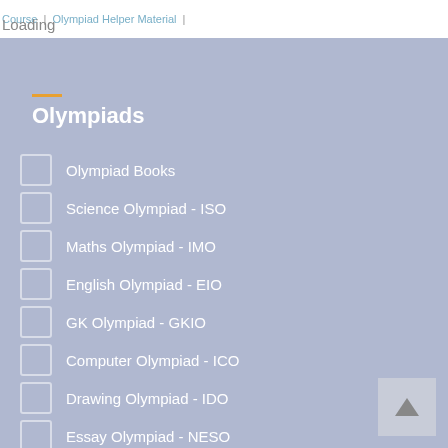Course | Olympiad Helper Material | Loading
Olympiads
Olympiad Books
Science Olympiad - ISO
Maths Olympiad - IMO
English Olympiad - EIO
GK Olympiad - GKIO
Computer Olympiad - ICO
Drawing Olympiad - IDO
Essay Olympiad - NESO
Social Olympiad - NSSO